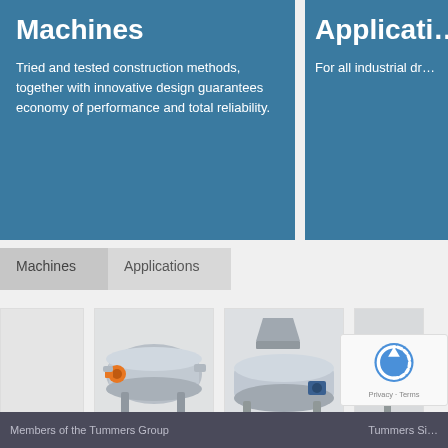Machines
Tried and tested construction methods, together with innovative design guarantees economy of performance and total reliability.
Applicati…
For all industrial dr…
Machines
Applications
[Figure (photo): Drum Dryer machine]
DRUM DRYER
[Figure (photo): Drum Flaker machine — cylindrical gray industrial drum flaker with orange drive components]
DRUM FLAKER
[Figure (photo): Tubular Dryers — large industrial tubular drying system with blue motor]
TUBULAR DRYERS
[Figure (photo): Partially visible machine (fourth card, cropped)]
Members of the Tummers Group
Tummers Si…